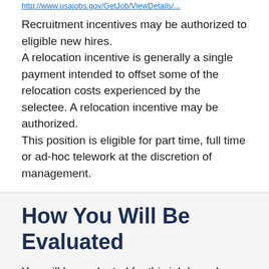http://www.usajobs.gov/...
Recruitment incentives may be authorized to eligible new hires.
A relocation incentive is generally a single payment intended to offset some of the relocation costs experienced by the selectee. A relocation incentive may be authorized.
This position is eligible for part time, full time or ad-hoc telework at the discretion of management.
How You Will Be Evaluated
You will be evaluated for this job based on how well you